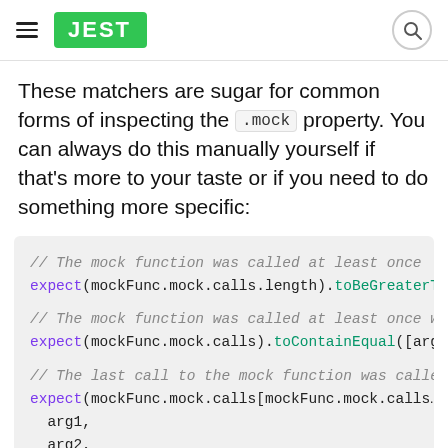JEST
These matchers are sugar for common forms of inspecting the .mock property. You can always do this manually yourself if that's more to your taste or if you need to do something more specific:
// The mock function was called at least once
expect(mockFunc.mock.calls.length).toBeGreaterT...

// The mock function was called at least once w...
expect(mockFunc.mock.calls).toContainEqual([arg...

// The last call to the mock function was calle...
expect(mockFunc.mock.calls[mockFunc.mock.calls...
  arg1,
  arg2,
]);